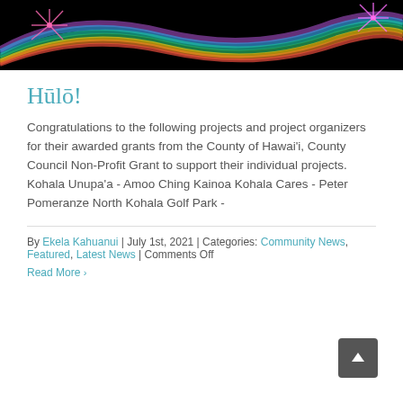[Figure (photo): Colorful rainbow light swirl with fireworks on black background — decorative hero banner image]
Hūlō!
Congratulations to the following projects and project organizers for their awarded grants from the County of Hawai'i, County Council Non-Profit Grant to support their individual projects. Kohala Unupa'a - Amoo Ching Kainoa Kohala Cares - Peter Pomeranze North Kohala Golf Park -
By Ekela Kahuanui | July 1st, 2021 | Categories: Community News, Featured, Latest News | Comments Off
Read More >